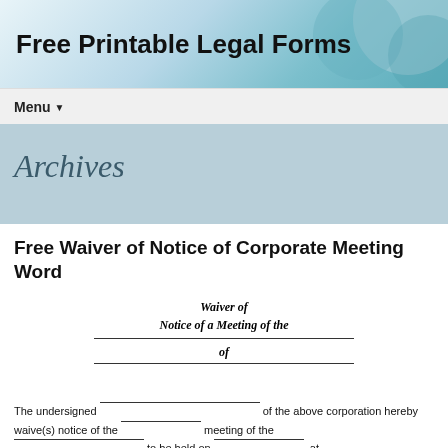Free Printable Legal Forms
Menu
Archives
Free Waiver of Notice of Corporate Meeting Word
Waiver of
Notice of a Meeting of the
_____________________________
of
_____________________________
The undersigned ___________________________ of the above corporation hereby waive(s) notice of the ________________ meeting of the __________________________ to be held on _____________________, at